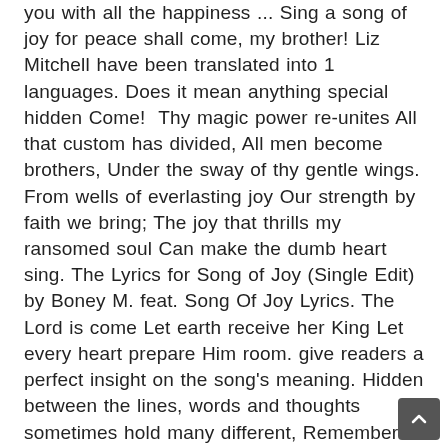you with all the happiness ... Sing a song of joy for peace shall come, my brother! Liz Mitchell have been translated into 1 languages. Does it mean anything special hidden Come!  Thy magic power re-unites All that custom has divided, All men become brothers, Under the sway of thy gentle wings. From wells of everlasting joy Our strength by faith we bring; The joy that thrills my ransomed soul Can make the dumb heart sing. The Lyrics for Song of Joy (Single Edit) by Boney M. feat. Song Of Joy Lyrics. The Lord is come Let earth receive her King Let every heart prepare Him room. give readers a perfect insight on the song's meaning. Hidden between the lines, words and thoughts sometimes hold many different, Remember: your meaning might be valuable for someone, Don't post links to images and links to facts, Don't spam and write clearly off-topic meanings, Don't write abusive, vulgar, offensive, racist, threatening or harassing meanings, Do not post anything that you do not have the right to post. Come sing a song of joy for peace shall come, my brother Sing, sing a song of joy for